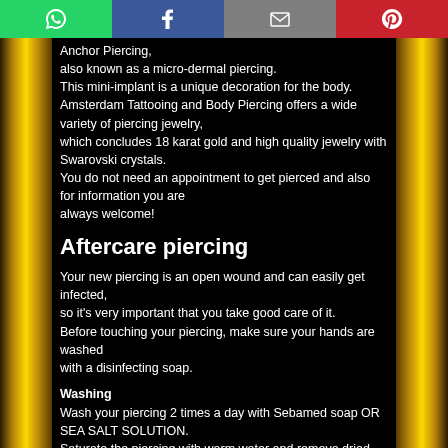[Figure (other): Social sharing bar with WhatsApp (green), Facebook (blue), Email (grey), Pinterest (red) buttons]
Anchor Piercing,
also known as a micro-dermal piercing.
This mini-implant is a unique decoration for the body.
Amsterdam Tattooing and Body Piercing offers a wide variety of piercing jewelry,
which concludes 18 karat gold and high quality jewelry with Swarovski crystals.
You do not need an appointment to get pierced and also for information you are
always welcome!
Aftercare piercing
Your new piercing is an open wound and can easily get infected,
so it's very important that you take good care of it.
Before touching your piercing, make sure your hands are washed
with a disinfecting soap.
Washing
Wash your piercing 2 times a day with Sebamed soap OR SEA SALT SOLUTION.
Saturate the piercing with warm water and remove dried discharge
from the jewelry and around the piercing.
Lather the jewelry well with soap, then pull the jewelry back and forth
through the piercing.
Rinse thoroughly to make sure all traces of soap are removed.